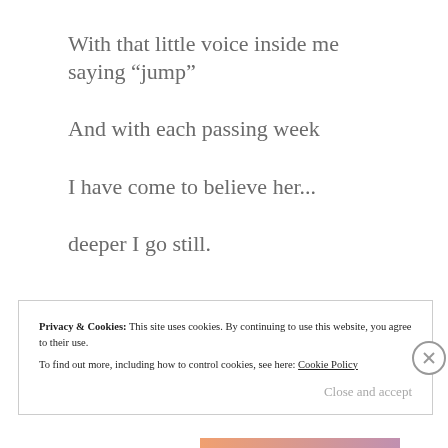With that little voice inside me saying “jump”
And with each passing week
I have come to believe her...
deeper I go still.
Privacy & Cookies: This site uses cookies. By continuing to use this website, you agree to their use.
To find out more, including how to control cookies, see here: Cookie Policy
Close and accept